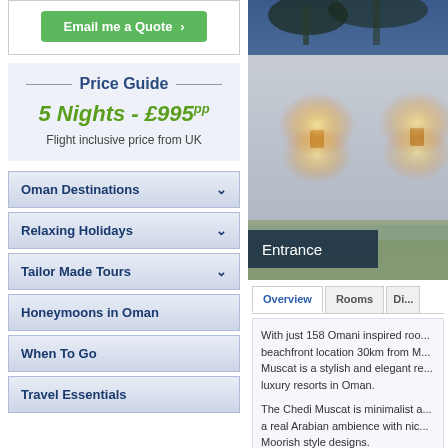[Figure (screenshot): Green Email me a Quote button with arrow]
Price Guide
5 Nights - £995pp
Flight inclusive price from UK
Oman Destinations
Relaxing Holidays
Tailor Made Tours
Honeymoons in Oman
When To Go
Travel Essentials
[Figure (photo): Hotel entrance at night with illuminated wall sconces, palm trees visible above, dark blue twilight sky]
Entrance
Overview | Rooms | Di...
With just 158 Omani inspired roo... beachfront location 30km from M... Muscat is a stylish and elegant re... luxury resorts in Oman.

The Chedi Muscat is minimalist a... a real Arabian ambience with nic... Moorish style designs.